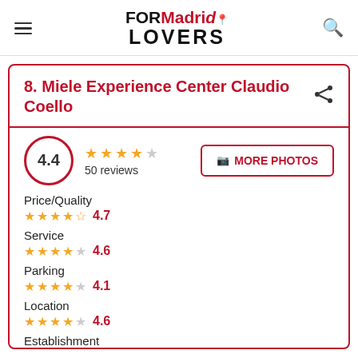FORMadrid LOVERS
8. Miele Experience Center Claudio Coello
4.4 — 50 reviews — MORE PHOTOS
Price/Quality 4.7
Service 4.6
Parking 4.1
Location 4.6
Establishment